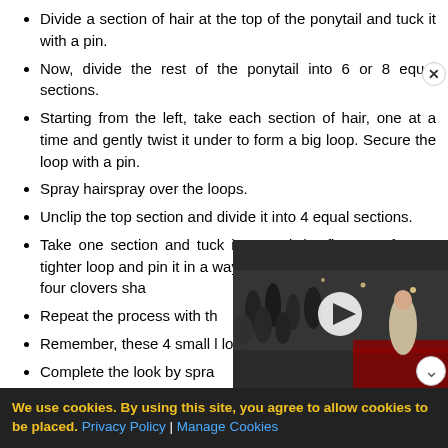Divide a section of hair at the top of the ponytail and tuck it with a pin.
Now, divide the rest of the ponytail into 6 or 8 equal sections.
Starting from the left, take each section of hair, one at a time and gently twist it under to form a big loop. Secure the loop with a pin.
Spray hairspray over the loops.
Unclip the top section and divide it into 4 equal sections.
Take one section and tuck it around the finger to form a tighter loop and pin it in a way, so as to form one side of the four clovers sha...
Repeat the process with the...
Remember, these 4 small l... lower bigger loops.
Complete the look by spra...
[Figure (screenshot): Video player overlay showing a crowd/red carpet scene with a play button in the center and a close (X) button in the top right corner.]
We use cookies. By using this site, you agree to allow cookies to be placed. Privacy Policy | Manage Cookies